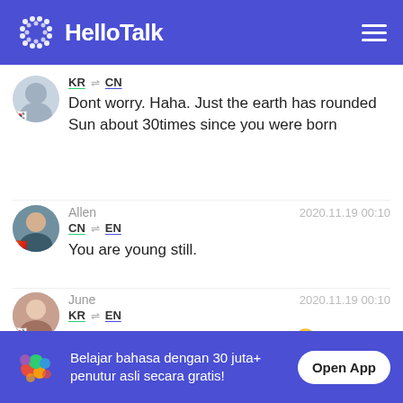[Figure (screenshot): HelloTalk app navigation bar with logo and hamburger menu on blue background]
Dont worry. Haha. Just the earth has rounded Sun about 30times since you were born
Allen  2020.11.19 00:10
CN → EN
You are young still.
June  2020.11.19 00:10
KR → EN
@Uena. 30s is the hardest time? 😢
Belajar bahasa dengan 30 juta+ penutur asli secara gratis!
Open App